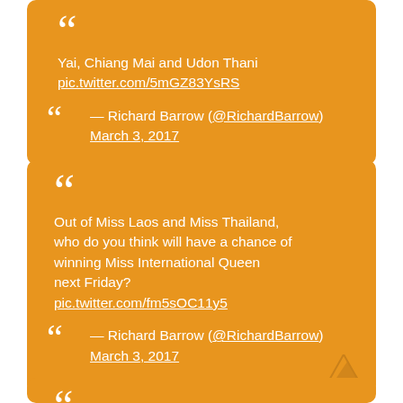Yai, Chiang Mai and Udon Thani pic.twitter.com/5mGZ83YsRS — Richard Barrow (@RichardBarrow) March 3, 2017
Out of Miss Laos and Miss Thailand, who do you think will have a chance of winning Miss International Queen next Friday? pic.twitter.com/fm5sOC11y5 — Richard Barrow (@RichardBarrow) March 3, 2017